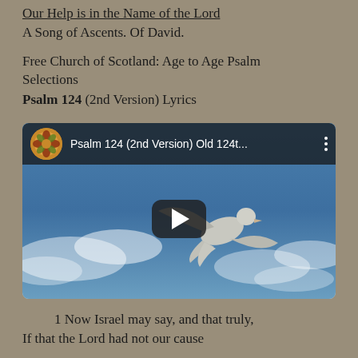Our Help is in the Name of the Lord
A Song of Ascents. Of David.
Free Church of Scotland: Age to Age Psalm Selections
Psalm 124 (2nd Version) Lyrics
[Figure (screenshot): YouTube video thumbnail showing a white dove in flight against a blue cloudy sky, with video title 'Psalm 124 (2nd Version) Old 124t...' and a play button overlay]
1 Now Israel may say, and that truly,
If that the Lord had not our cause